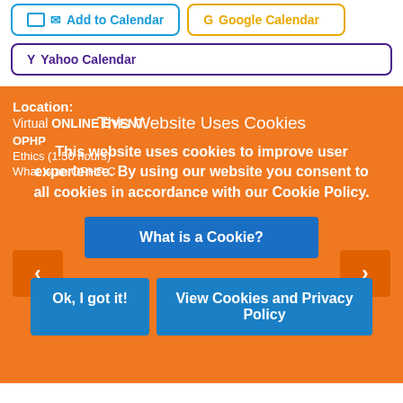✉ Add to Calendar
G Google Calendar
Y Yahoo Calendar
Location:
Virtual ONLINE Event
OPHP
Ethics (1.50 hours)
What is an OPHP C
This Website Uses Cookies
This website uses cookies to improve user experience. By using our website you consent to all cookies in accordance with our Cookie Policy.
What is a Cookie?
Ok, I got it!
View Cookies and Privacy Policy